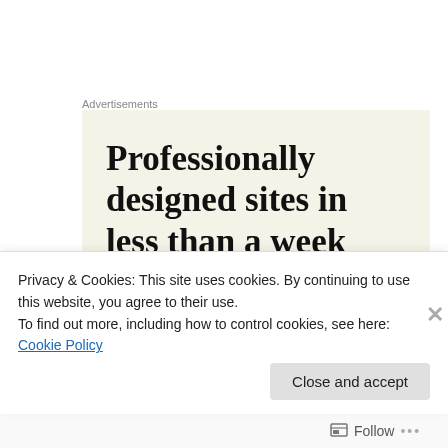Advertisements
[Figure (other): Advertisement banner with beige background showing text: Professionally designed sites in less than a week]
–Lynell
Advertisements
[Figure (other): Advertisement banner with black background]
Privacy & Cookies: This site uses cookies. By continuing to use this website, you agree to their use.
To find out more, including how to control cookies, see here: Cookie Policy
Close and accept
Follow